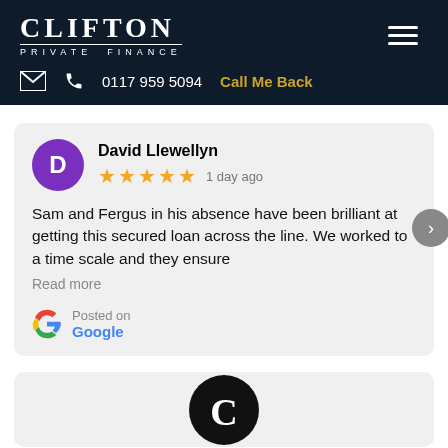CLIFTON PRIVATE FINANCE — 0117 959 5094 — Call Me Back
David Llewellyn
★★★★★ 1 day ago
Sam and Fergus in his absence have been brilliant at getting this secured loan across the line. We worked to a time scale and they ensure
Read more
Posted on Google